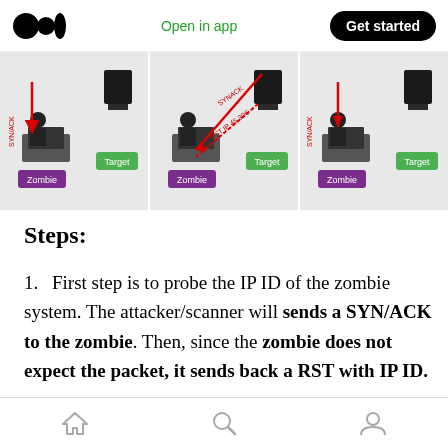Open in app | Get started
[Figure (illustration): Three-panel diagram showing zombie scan steps: Zombie and Target computers with SYN/ACK and RST arrows indicating network packet flow. Each panel labeled 'Zombie' (purple) and 'Target' (green).]
Steps:
First step is to probe the IP ID of the zombie system. The attacker/scanner will sends a SYN/ACK to the zombie. Then, since the zombie does not expect the packet, it sends back a RST with IP ID.
Home | Search | Profile